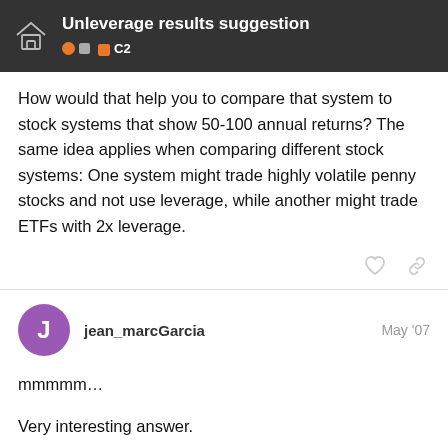Unleverage results suggestion
How would that help you to compare that system to stock systems that show 50-100 annual returns? The same idea applies when comparing different stock systems: One system might trade highly volatile penny stocks and not use leverage, while another might trade ETFs with 2x leverage.
jean_marcGarcia  May '07
mmmmm…

Very interesting answer.

something else ?